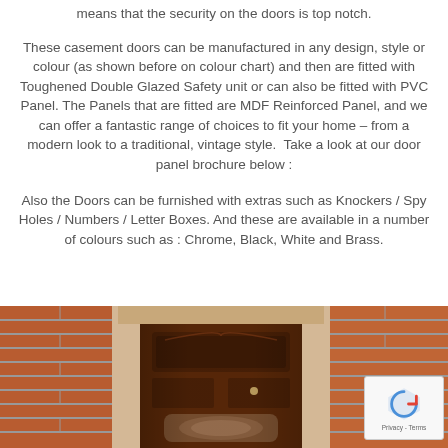means that the security on the doors is top notch.
These casement doors can be manufactured in any design, style or colour (as shown before on colour chart) and then are fitted with Toughened Double Glazed Safety unit or can also be fitted with PVC Panel. The Panels that are fitted are MDF Reinforced Panel, and we can offer a fantastic range of choices to fit your home – from a modern look to a traditional, vintage style.  Take a look at our door panel brochure below :
Also the Doors can be furnished with extras such as Knockers / Spy Holes / Numbers / Letter Boxes. And these are available in a number of colours such as : Chrome, Black, White and Brass.
[Figure (photo): Photo of a dark wood casement front door set within a red brick wall, showing decorative panelling and a glass insert in the lower centre of the door.]